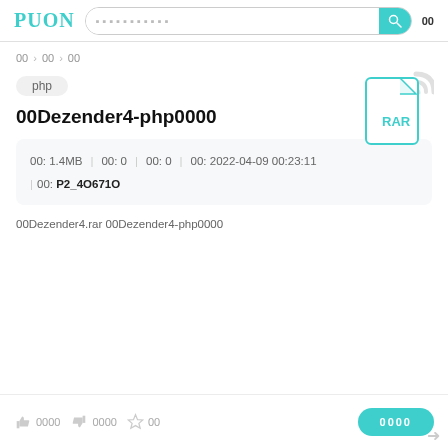PUON [search bar] 00
00 > 00 > 00
[Figure (illustration): RAR file icon with teal border and label RAR]
php
00Dezender4-php0000
00: 1.4MB | 00: 0 | 00: 0 | 00: 2022-04-09 00:23:11 | 00: P2_4O671O
00Dezender4.rar 00Dezender4-php0000
0000 0000 00 [thumbs up/down/star] 0000 [download button]